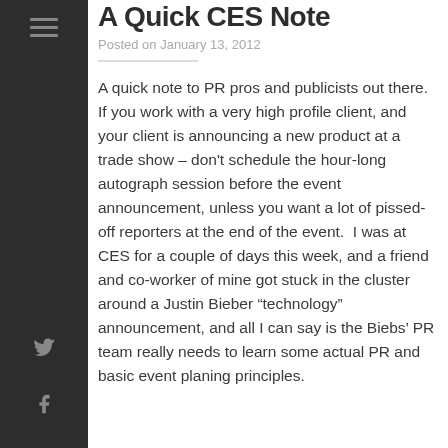A Quick CES Note
Posted on January 13, 2012
A quick note to PR pros and publicists out there. If you work with a very high profile client, and your client is announcing a new product at a trade show – don't schedule the hour-long autograph session before the event announcement, unless you want a lot of pissed-off reporters at the end of the event.  I was at CES for a couple of days this week, and a friend and co-worker of mine got stuck in the cluster around a Justin Bieber “technology” announcement, and all I can say is the Biebs’ PR team really needs to learn some actual PR and basic event planing principles.